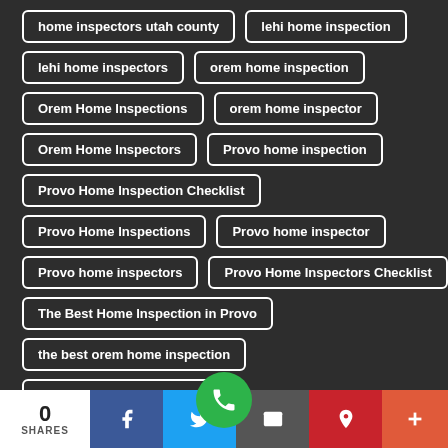home inspectors utah county
lehi home inspection
lehi home inspectors
orem home inspection
Orem Home Inspections
orem home inspector
Orem Home Inspectors
Provo home inspection
Provo Home Inspection Checklist
Provo Home Inspections
Provo home inspector
Provo home inspectors
Provo Home Inspectors Checklist
The Best Home Inspection in Provo
the best orem home inspection
the best orem home inspect…
0 SHARES | Facebook | Twitter | Email | Pinterest | More